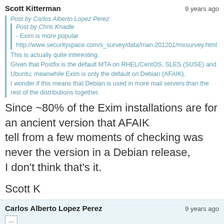Scott Kitterman — 9 years ago
Post by Carlos Alberto Lopez Perez
Post by Chris Knadle
- Exim is more popular
http://www.securityspace.com/s_survey/data/man.201201/mxsurvey.html
This is actually quite interesting.
Given that Postfix is the default MTA on RHEL/CentOS, SLES (SUSE) and Ubuntu; meanwhile Exim is only the default on Debian (AFAIK).
I wonder if this means that Debian is used in more mail servers than the rest of the distributions together.
Since ~80% of the Exim installations are for an ancient version that AFAIK
tell from a few moments of checking was never the version in a Debian release,
I don't think that's it.
Scott K
Carlos Alberto Lopez Perez — 9 years ago
...
Exim 4.69 was shipped with Debian 5.0 (Lenny)